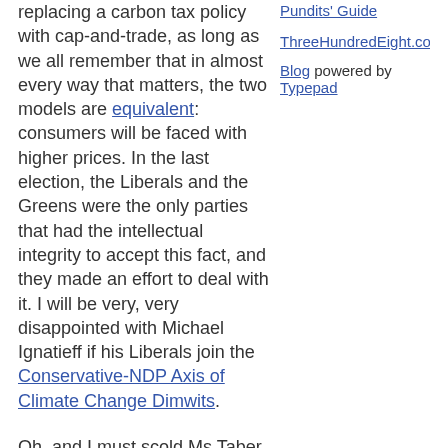replacing a carbon tax policy with cap-and-trade, as long as we all remember that in almost every way that matters, the two models are equivalent: consumers will be faced with higher prices. In the last election, the Liberals and the Greens were the only parties that had the intellectual integrity to accept this fact, and they made an effort to deal with it. I will be very, very disappointed with Michael Ignatieff if his Liberals join the Conservative-NDP Axis of Climate Change Dimwits. Oh, and I must scold Ms Taber for this throwaway paragraph
Pundits' Guide
ThreeHundredEight.com
Blog powered by Typepad